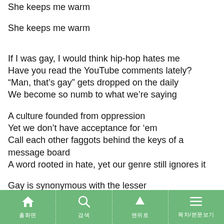She keeps me warm
She keeps me warm
If I was gay, I would think hip-hop hates me
Have you read the YouTube comments lately?
“Man, that’s gay” gets dropped on the daily
We become so numb to what we’re saying
A culture founded from oppression
Yet we don’t have acceptance for ‘em
Call each other faggots behind the keys of a message board
A word rooted in hate, yet our genre still ignores it
Gay is synonymous with the lesser
It’s the same hate that’s caused wars from religion
Gender to skin color, the complexion of your pigment
Home | Search | Up | Menu